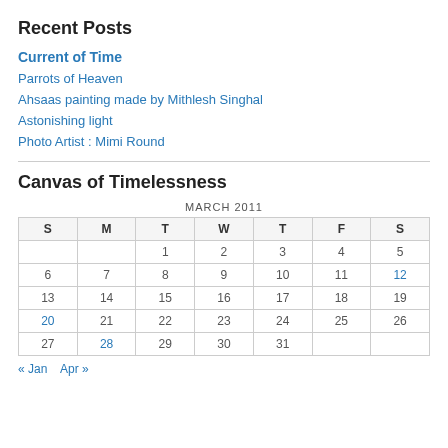Recent Posts
Current of Time
Parrots of Heaven
Ahsaas painting made by Mithlesh Singhal
Astonishing light
Photo Artist : Mimi Round
Canvas of Timelessness
| S | M | T | W | T | F | S |
| --- | --- | --- | --- | --- | --- | --- |
|  |  | 1 | 2 | 3 | 4 | 5 |
| 6 | 7 | 8 | 9 | 10 | 11 | 12 |
| 13 | 14 | 15 | 16 | 17 | 18 | 19 |
| 20 | 21 | 22 | 23 | 24 | 25 | 26 |
| 27 | 28 | 29 | 30 | 31 |  |  |
« Jan   Apr »